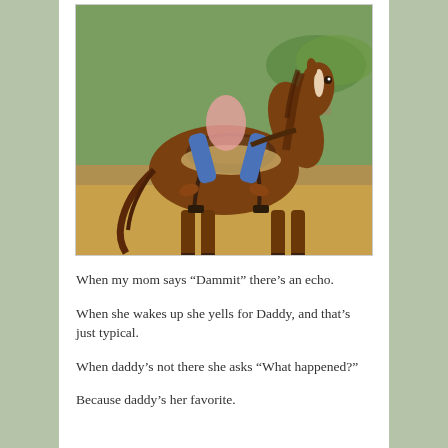[Figure (photo): A child sitting on a large brown horse with a blaze marking, outdoors on a farm setting with green grass and dry ground. The horse is facing right and the child is seated in a western saddle.]
When my mom says “Dammit” there’s an echo.
When she wakes up she yells for Daddy, and that’s just typical.
When daddy’s not there she asks “What happened?”
Because daddy’s her favorite.